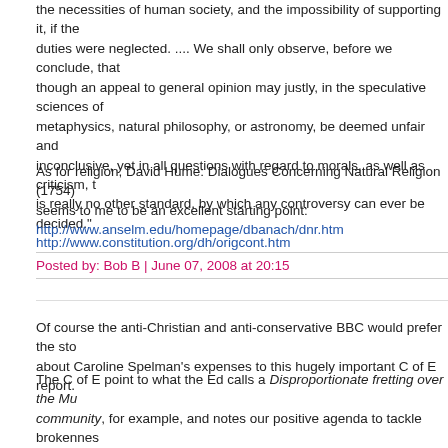the necessities of human society, and the impossibility of supporting it, if these duties were neglected. .... We shall only observe, before we conclude, that though an appeal to general opinion may justly, in the speculative sciences of metaphysics, natural philosophy, or astronomy, be deemed unfair and inconclusive, yet in all questions with regard to morals, as well as criticism, there is really no other standard, by which any controversy can ever be decided." http://www.constitution.org/dh/origcont.htm
As for religion, David Hume: Dialogues Concerning Natural Religion (1754) seems to me to be an excellent starting point: http://www.anselm.edu/homepage/dbanach/dnr.htm
Posted by: Bob B | June 07, 2008 at 20:15
Of course the anti-Christian and anti-conservative BBC would prefer the story about Caroline Spelman's expenses to this hugely important C of E report.
The C of E point to what the Ed calls a Disproportionate fretting over the Muslim community, for example, and notes our positive agenda to tackle brokenness in society and poverty. This is of course while Labour are determined to abolish fatherhood, create human/animal hydrid embryos, manufacture siblings for the use of another, and to keep abortion limit at 24 weeks in definace of public concern about the number of abortions.
It seems the marginalisation of Christianity is due to the desire to accomm...